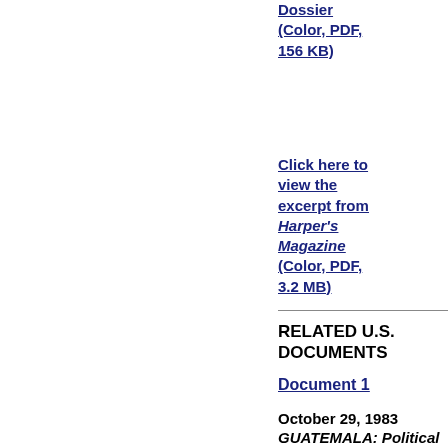Dossier (Color, PDF, 156 KB)
Click here to view the excerpt from Harper's Magazine (Color, PDF, 3.2 MB)
RELATED U.S. DOCUMENTS
Document 1
October 29, 1983
GUATEMALA: Political